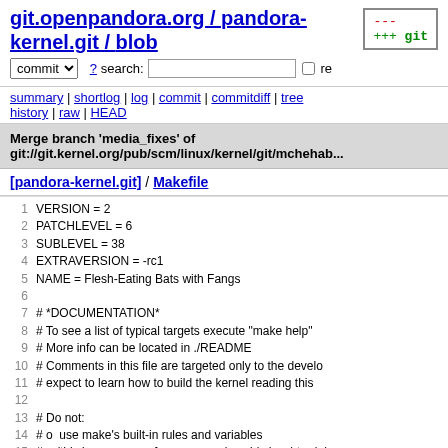git.openpandora.org / pandora-kernel.git / blob
summary | shortlog | log | commit | commitdiff | tree history | raw | HEAD
Merge branch 'media_fixes' of git://git.kernel.org/pub/scm/linux/kernel/git/mchehab...
[pandora-kernel.git] / Makefile
1  VERSION = 2
2  PATCHLEVEL = 6
3  SUBLEVEL = 38
4  EXTRAVERSION = -rc1
5  NAME = Flesh-Eating Bats with Fangs
6  
7  # *DOCUMENTATION*
8  # To see a list of typical targets execute "make help"
9  # More info can be located in ./README
10 # Comments in this file are targeted only to the develo
11 # expect to learn how to build the kernel reading this
12 
13 # Do not:
14 # o  use make's built-in rules and variables
15 #    (this increases performance and avoids hard-to-deb
16 # o  print "Entering directory ...";
17 MAKEFLAGS += -rR --no-print-directory
18